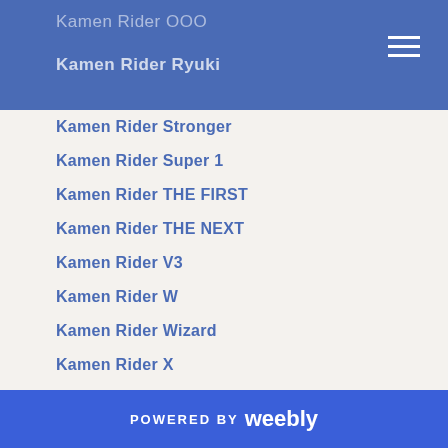Kamen Rider OOO
Kamen Rider Ryuki
Kamen Rider Stronger
Kamen Rider Super 1
Kamen Rider THE FIRST
Kamen Rider THE NEXT
Kamen Rider V3
Kamen Rider W
Kamen Rider Wizard
Kamen Rider X
Kamen Rider ZO
Kane Kosugi
Kasumi Yamaya
Keiko Kitagawa
Kekkai Sensen
Kevin Kleinberg
Kingdom Hearts
King Kong
Kinko (clipped)
POWERED BY weebly